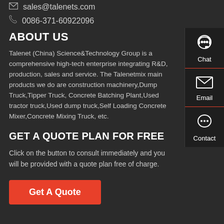sales@talenets.com
0086-371-60922096
ABOUT US
Talenet (China) Science&Technology Group is a comprehensive high-tech enterprise integrating R&D, production, sales and service. The Talenetmix main products we do are construction machinery,Dump Truck,Tipper Truck, Concrete Batching Plant,Used tractor truck,Used dump truck,Self Loading Concrete Mixer,Concrete Mixing Truck, etc.
GET A QUOTE PLAN FOR FREE
Click on the button to consult immediately and you will be provided with a quote plan free of charge.
Get A Quote
[Figure (infographic): Side panel with Chat, Email, and Contact icons and labels on dark background]